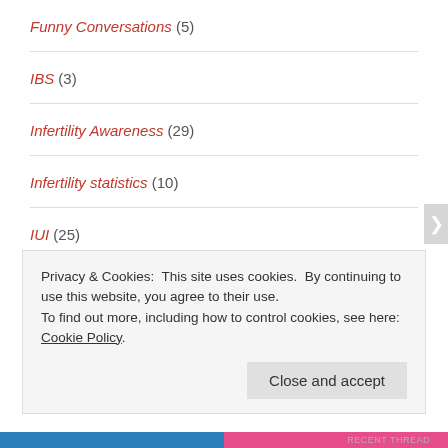Funny Conversations (5)
IBS (3)
Infertility Awareness (29)
Infertility statistics (10)
IUI (25)
IVF (33)
IVF Diary Vol I (18)
Privacy & Cookies: This site uses cookies. By continuing to use this website, you agree to their use. To find out more, including how to control cookies, see here: Cookie Policy